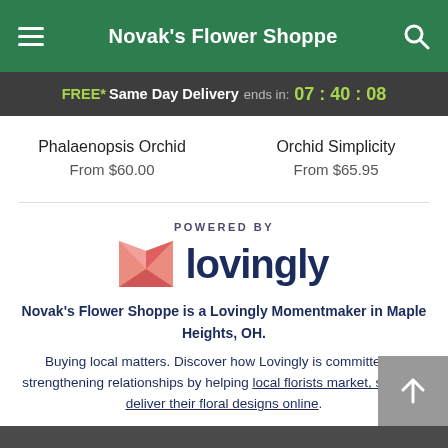Novak's Flower Shoppe
FREE* Same Day Delivery ends in: 07 : 40 : 08
Phalaenopsis Orchid
From $60.00
Orchid Simplicity
From $65.95
[Figure (logo): Lovingly logo with heart/envelope icon and text 'lovingly']
POWERED BY lovingly
Novak's Flower Shoppe is a Lovingly Momentmaker in Maple Heights, OH.

Buying local matters. Discover how Lovingly is committed to strengthening relationships by helping local florists market, sell, and deliver their floral designs online.